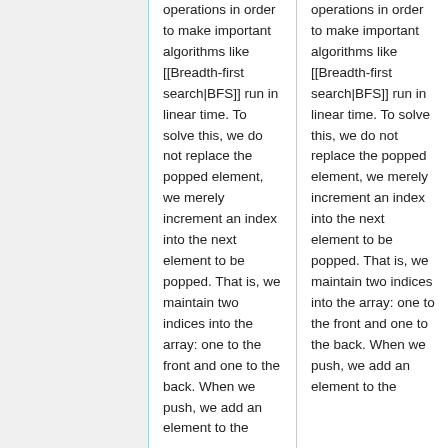operations in order to make important algorithms like [[Breadth-first search|BFS]] run in linear time. To solve this, we do not replace the popped element, we merely increment an index into the next element to be popped. That is, we maintain two indices into the array: one to the front and one to the back. When we push, we add an element to the
operations in order to make important algorithms like [[Breadth-first search|BFS]] run in linear time. To solve this, we do not replace the popped element, we merely increment an index into the next element to be popped. That is, we maintain two indices into the array: one to the front and one to the back. When we push, we add an element to the